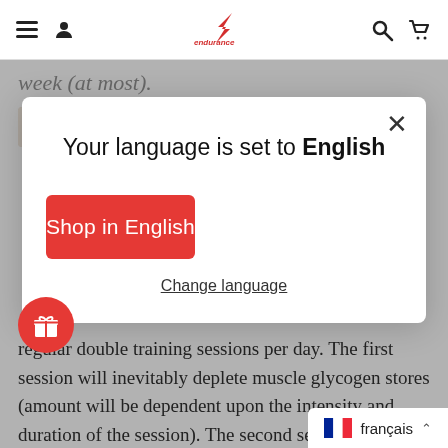Endurance shop navigation bar with menu, user, logo, search, cart icons
week (at most).
[Figure (photo): Small partial avatar/profile photo thumbnail]
Your language is set to English
Shop in English
Change language
regular double training sessions per day. The first session will inevitably deplete muscle glycogen stores (amount will be dependent upon the intensity and duration of the session). The second session scheduled for say 6-8 hours later, will
français ∧